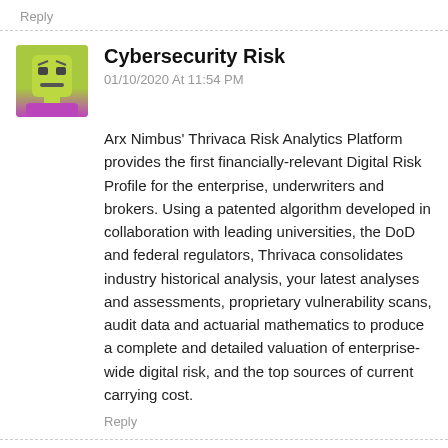Reply
Cybersecurity Risk
01/10/2020 At 11:54 PM
Arx Nimbus' Thrivaca Risk Analytics Platform provides the first financially-relevant Digital Risk Profile for the enterprise, underwriters and brokers. Using a patented algorithm developed in collaboration with leading universities, the DoD and federal regulators, Thrivaca consolidates industry historical analysis, your latest analyses and assessments, proprietary vulnerability scans, audit data and actuarial mathematics to produce a complete and detailed valuation of enterprise-wide digital risk, and the top sources of current carrying cost.
Reply
Anal Sex Toys
01/10/2020 At 11:35 PM